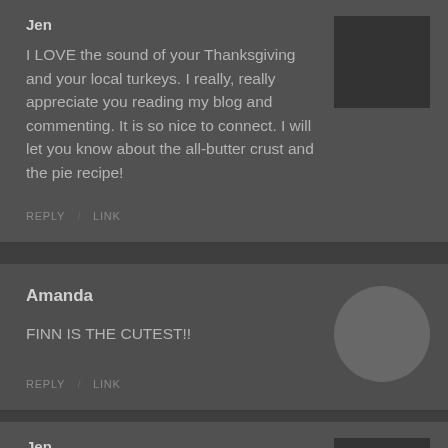Jen
I LOVE the sound of your Thanksgiving and your local turkeys. I really, really appreciate you reading my blog and commenting. It is so nice to connect. I will let you know about the all-butter crust and the pie recipe!
REPLY   LINK
Amanda
FINN IS THE CUTEST!!
REPLY   LINK
Jen